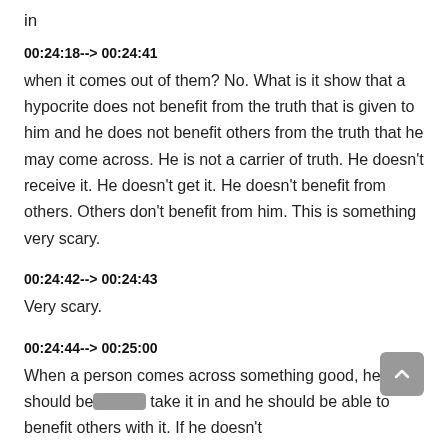in
00:24:18--> 00:24:41
when it comes out of them? No. What is it show that a hypocrite does not benefit from the truth that is given to him and he does not benefit others from the truth that he may come across. He is not a carrier of truth. He doesn't receive it. He doesn't get it. He doesn't benefit from others. Others don't benefit from him. This is something very scary.
00:24:42--> 00:24:43
Very scary.
00:24:44--> 00:25:00
When a person comes across something good, he should be able to take it in and he should be able to benefit others with it. If he doesn't